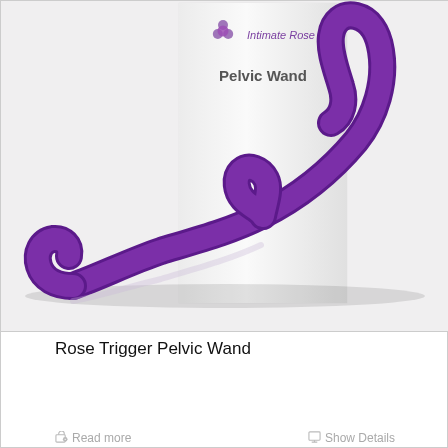[Figure (photo): Product photo of the Rose Trigger Pelvic Wand — a purple S-curved silicone wand — displayed in front of its white product box labeled 'Intimate Rose Pelvic Wand'. The wand is shown lying on a reflective white surface.]
Rose Trigger Pelvic Wand
Read more
Show Details